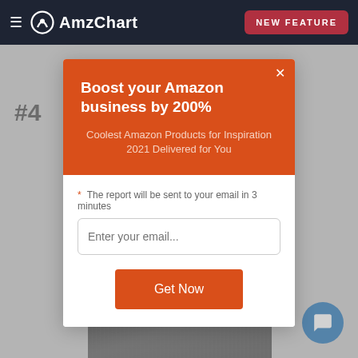AmzChart — NEW FEATURE
#4
Boost your Amazon business by 200%
Coolest Amazon Products for Inspiration 2021 Delivered for You
* The report will be sent to your email in 3 minutes
Enter your email...
Get Now
[Figure (photo): Dark gray ribbed fabric product image visible behind modal]